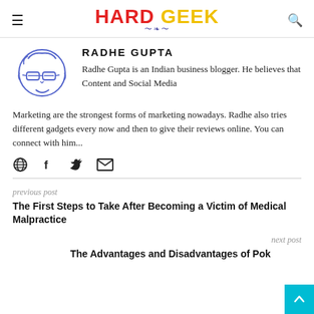HARD GEEK
RADHE GUPTA
Radhe Gupta is an Indian business blogger. He believes that Content and Social Media Marketing are the strongest forms of marketing nowadays. Radhe also tries different gadgets every now and then to give their reviews online. You can connect with him...
previous post
The First Steps to Take After Becoming a Victim of Medical Malpractice
next post
The Advantages and Disadvantages of Pok…